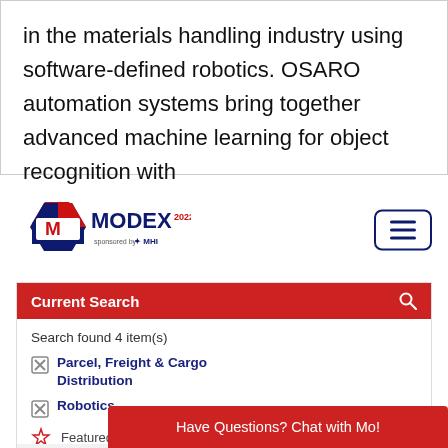in the materials handling industry using software-defined robotics. OSARO automation systems bring together advanced machine learning for object recognition with
[Figure (logo): MODEX 2022 logo with MHI branding]
Current Search
Search found 4 item(s)
Parcel, Freight & Cargo Distribution
Robotics
Simulation and Digital Twin Software & Services
Remove All
Featured Showcase
MHI Member
Filter by Pr...
Have Questions? Chat with Mo!